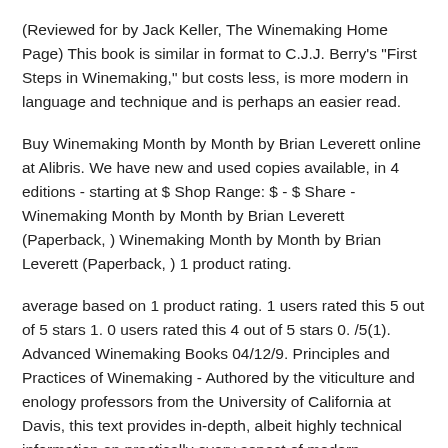(Reviewed for by Jack Keller, The Winemaking Home Page) This book is similar in format to C.J.J. Berry's "First Steps in Winemaking," but costs less, is more modern in language and technique and is perhaps an easier read.
Buy Winemaking Month by Month by Brian Leverett online at Alibris. We have new and used copies available, in 4 editions - starting at $ Shop Range: $ - $ Share - Winemaking Month by Month by Brian Leverett (Paperback, ) Winemaking Month by Month by Brian Leverett (Paperback, ) 1 product rating.
average based on 1 product rating. 1 users rated this 5 out of 5 stars 1. 0 users rated this 4 out of 5 stars 0. /5(1). Advanced Winemaking Books 04/12/9. Principles and Practices of Winemaking - Authored by the viticulture and enology professors from the University of California at Davis, this text provides in-depth, albeit highly technical information on practically every aspect of modern winemaking and equipment.
It is designed to be used as a teaching aid and is definately geared towards professional. Synopsis This book sets out in metric, imperial